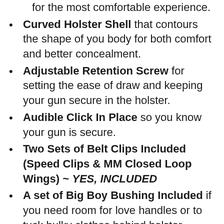for the most comfortable experience.
Curved Holster Shell that contours the shape of you body for both comfort and better concealment.
Adjustable Retention Screw for setting the ease of draw and keeping your gun secure in the holster.
Audible Click In Place so you know your gun is secure.
Two Sets of Belt Clips Included (Speed Clips & MM Closed Loop Wings) ~ YES, INCLUDED
A set of Big Boy Bushing Included if you need room for love handles or to tuck bulky clothes behind holster. ~ YES, INCLUDED
Adjustable Ride Height to adjust how high or low you desire your holster to sit on your